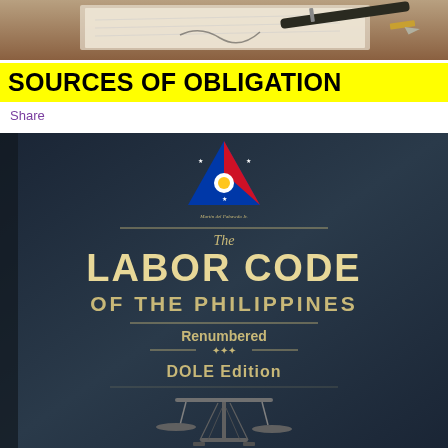[Figure (photo): Top portion of page showing a pen resting on papers/book pages, brown tones]
SOURCES OF OBLIGATION
Share
[Figure (photo): Book cover of The Labor Code of the Philippines, Renumbered, DOLE Edition, dark blue/navy background with Philippine flag triangle logo at top and scales of justice at bottom, gold lettering]